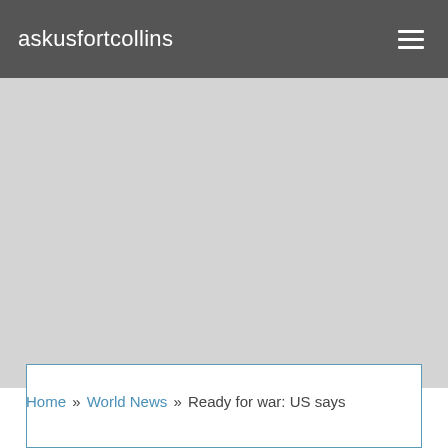askusfortcollins
[Figure (other): Advertisement placeholder area with light gray background]
Home » World News » Ready for war: US says